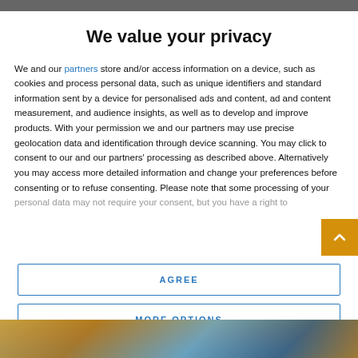We value your privacy
We and our partners store and/or access information on a device, such as cookies and process personal data, such as unique identifiers and standard information sent by a device for personalised ads and content, ad and content measurement, and audience insights, as well as to develop and improve products. With your permission we and our partners may use precise geolocation data and identification through device scanning. You may click to consent to our and our partners' processing as described above. Alternatively you may access more detailed information and change your preferences before consenting or to refuse consenting. Please note that some processing of your personal data may not require your consent, but you have a right to
AGREE
MORE OPTIONS
[Figure (photo): Partially visible image at the bottom of the page, appears to show people or a scene with warm golden and blue tones]